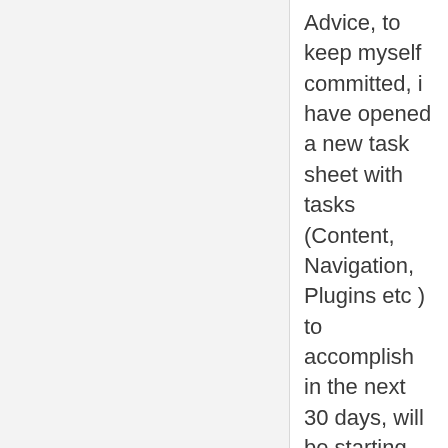Advice, to keep myself committed, i have opened a new task sheet with tasks (Content, Navigation, Plugins etc ) to accomplish in the next 30 days, will be starting on June 1st.
Can i keep you updated on Progress on a weekly basis when i start?